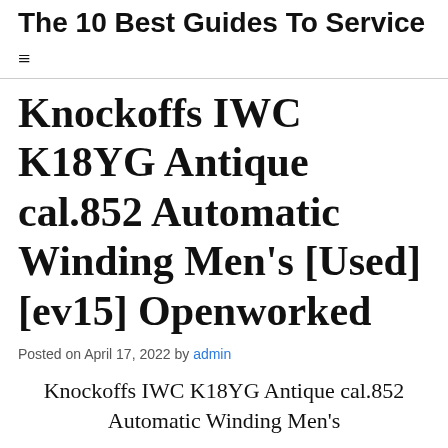The 10 Best Guides To Service W…
Knockoffs IWC K18YG Antique cal.852 Automatic Winding Men's [Used] [ev15] Openworked
Posted on April 17, 2022 by admin
Knockoffs IWC K18YG Antique cal.852 Automatic Winding Men's